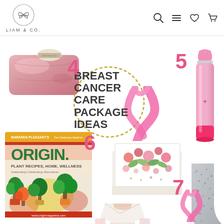LIAM & CO.
BREAST CANCER CARE PACKAGE IDEAS
[Figure (photo): Pink satin pillowcase product photo (item 4)]
[Figure (photo): Pink Hydro Flask water bottle (item 5)]
[Figure (photo): Origin plant recipes book by Maranda Pleasant (item 6)]
[Figure (photo): Floral greeting card (item 7)]
[Figure (photo): Grey speckled socks partially visible (item 8)]
[Figure (photo): White fuzzy sweater/cardigan partially visible (item 10)]